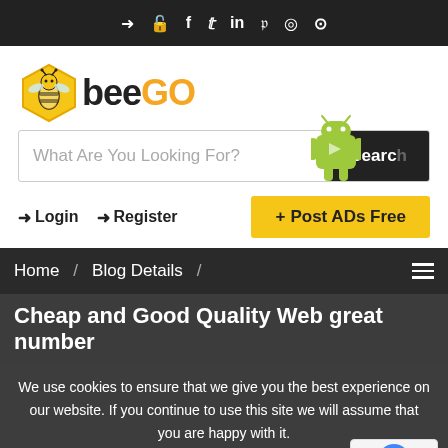Login  Register  f  Twitter  in  Pinterest  Instagram  Reddit
[Figure (logo): BeeGo logo with honeycomb hexagon and bee icon, text 'bee' in dark and 'GO' in orange/gold]
What Are You Looking For? Search
Login  Register  + Post ADs Free
Home / Blog Details /
Cheap and Good Quality Web great number
We use cookies to ensure that we give you the best experience on our website. If you continue to use this site we will assume that you are happy with it.
Ok